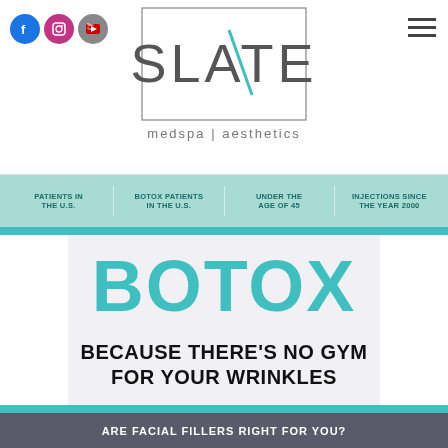[Figure (logo): Slate Medspa Aesthetics logo with social media icons (Facebook, Instagram, YouTube) and hamburger menu]
[Figure (infographic): Teal banner showing statistics: Patients in the U.S., Botox Patients in the U.S., Under the Age of 45, Injections Since the Year 2000]
BOTOX
BECAUSE THERE'S NO GYM FOR YOUR WRINKLES
ARE FACIAL FILLERS RIGHT FOR YOU?